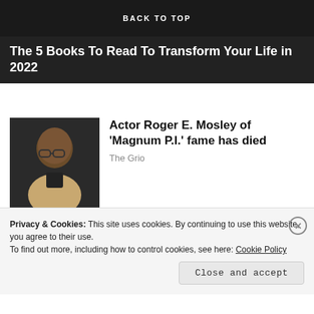BACK TO TOP
The 5 Books To Read To Transform Your Life in 2022
[Figure (photo): Black and white portrait photo of a bald man wearing glasses and a light-colored jacket, looking to the side in front of a microphone.]
Actor Roger E. Mosley of 'Magnum P.I.' fame has died
The Grio
[Figure (photo): Photo of a group of people in what appears to be a professional setting, with a smiling man in the foreground wearing a tie.]
Texas Roadhouse Crew Member Jobs in Ashburn Apply Now
Privacy & Cookies: This site uses cookies. By continuing to use this website, you agree to their use.
To find out more, including how to control cookies, see here: Cookie Policy
Close and accept